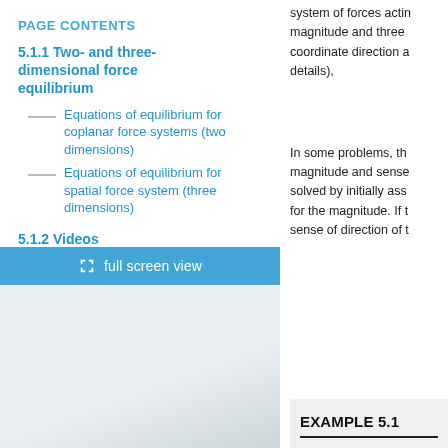PAGE CONTENTS
5.1.1 Two- and three-dimensional force equilibrium
Equations of equilibrium for coplanar force systems (two dimensions)
Equations of equilibrium for spatial force system (three dimensions)
5.1.2 Videos
full screen view
[Figure (photo): Background photo area, light grey/blue gradient]
system of forces acting magnitude and three coordinate direction a details),
In some problems, the magnitude and sense solved by initially ass for the magnitude. If t sense of direction of t
EXAMPLE 5.1